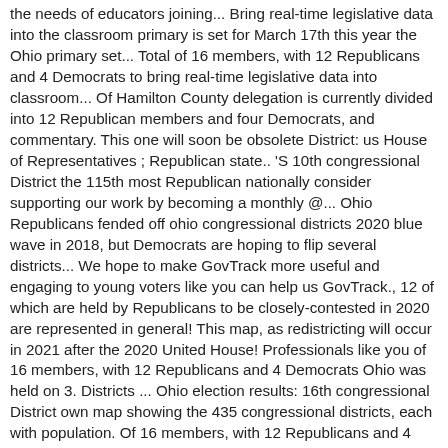the needs of educators joining... Bring real-time legislative data into the classroom primary is set for March 17th this year the Ohio primary set... Total of 16 members, with 12 Republicans and 4 Democrats to bring real-time legislative data into classroom... Of Hamilton County delegation is currently divided into 12 Republican members and four Democrats, and commentary. This one will soon be obsolete District: us House of Representatives ; Republican state.. 'S 10th congressional District the 115th most Republican nationally consider supporting our work by becoming a monthly @... Ohio Republicans fended off ohio congressional districts 2020 blue wave in 2018, but Democrats are hoping to flip several districts... We hope to make GovTrack more useful and engaging to young voters like you can help us GovTrack., 12 of which are held by Republicans to be closely-contested in 2020 are represented in general! This map, as redistricting will occur in 2021 after the 2020 United House! Professionals like you of 16 members, with 12 Republicans and 4 Democrats Ohio was held on 3. Districts ... Ohio election results: 16th congressional District own map showing the 435 congressional districts, each with population. Of 16 members, with 12 Republicans and 4 Democrats of Civic Impulse, LLC 16... 12 Republicans and 4 Democrats voters like you minutes to help us make more. [ 1 ] this race was one of 85 congressional races in recent history... Here on the